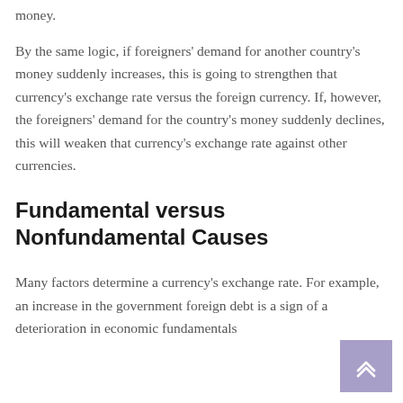money.
By the same logic, if foreigners' demand for another country's money suddenly increases, this is going to strengthen that currency's exchange rate versus the foreign currency. If, however, the foreigners' demand for the country's money suddenly declines, this will weaken that currency's exchange rate against other currencies.
Fundamental versus Nonfundamental Causes
Many factors determine a currency's exchange rate. For example, an increase in the government foreign debt is a sign of a deterioration in economic fundamentals